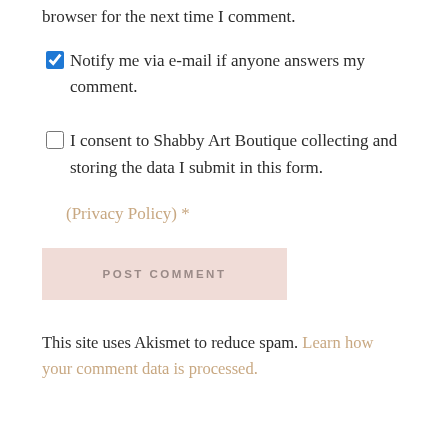browser for the next time I comment.
Notify me via e-mail if anyone answers my comment.
I consent to Shabby Art Boutique collecting and storing the data I submit in this form. (Privacy Policy) *
POST COMMENT
This site uses Akismet to reduce spam. Learn how your comment data is processed.